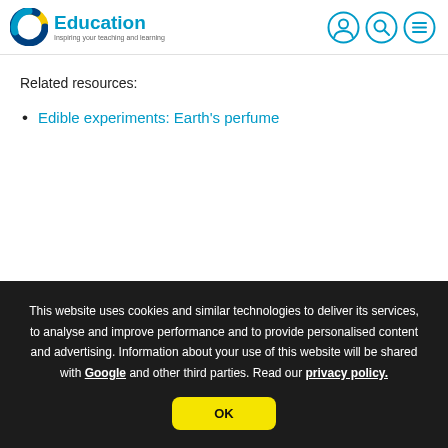C Education – Inspiring your teaching and learning
Related resources:
Edible experiments: Earth's perfume
This website uses cookies and similar technologies to deliver its services, to analyse and improve performance and to provide personalised content and advertising. Information about your use of this website will be shared with Google and other third parties. Read our privacy policy.